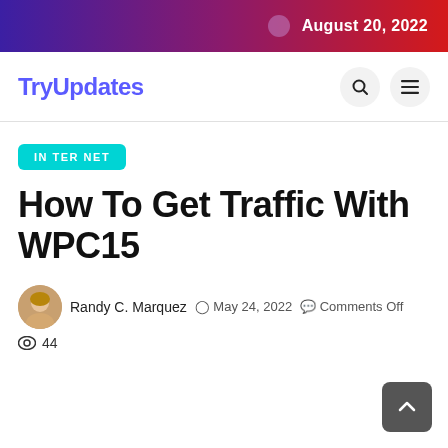August 20, 2022
TryUpdates
INTER NET
How To Get Traffic With WPC15
Randy C. Marquez  May 24, 2022  Comments Off
44